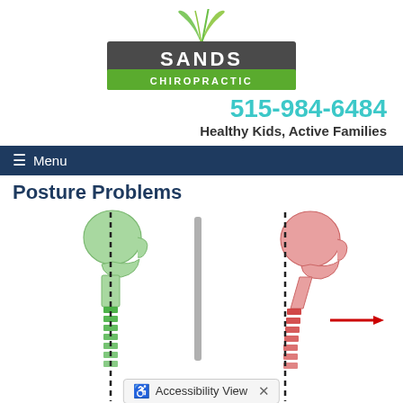[Figure (logo): Sands Chiropractic logo with green swoosh above gray/green rectangular sign reading SANDS CHIROPRACTIC]
515-984-6484
Healthy Kids, Active Families
≡ Menu
Posture Problems
[Figure (illustration): Two side-by-side anatomical illustrations of human head and neck showing posture comparison: left figure in green showing correct spinal alignment with vertical dashed line, right figure in red/pink showing forward head posture with horizontal red arrow indicating head displacement forward]
Accessibility View ×